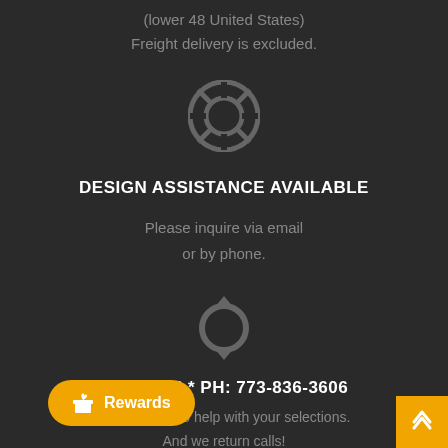(lower 48 United States)
Freight delivery is excluded.
[Figure (illustration): Life preserver / lifebuoy icon in gray]
DESIGN ASSISTANCE AVAILABLE
Please inquire via email
or by phone.
[Figure (illustration): Refresh / sync arrows icon in gray]
CALL US! * PH: 773-836-3606
We are here to help with your selections.
And we return calls!
Rewards
[Figure (illustration): Scroll to top arrow button]